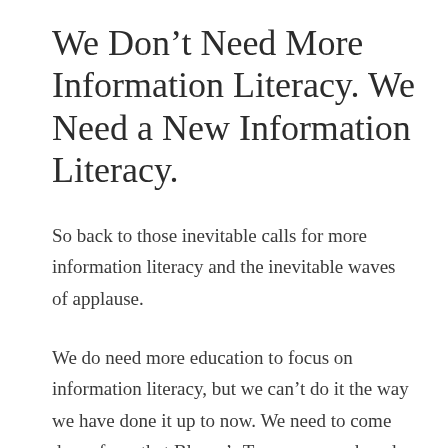We Don’t Need More Information Literacy. We Need a New Information Literacy.
So back to those inevitable calls for more information literacy and the inevitable waves of applause.
We do need more education to focus on information literacy, but we can’t do it the way we have done it up to now. We need to come down from that Bloom’s Taxonomy peak and teach students basic things about the web and the